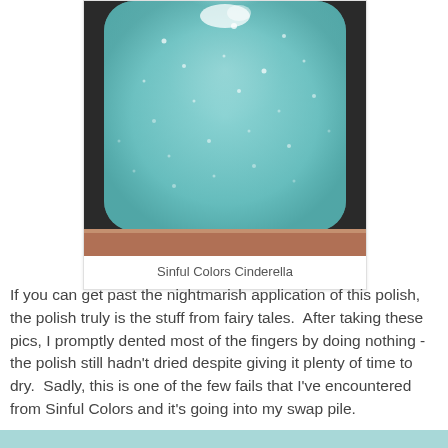[Figure (photo): Close-up macro photograph of a nail painted with a light blue shimmer/glitter nail polish called Sinful Colors Cinderella. The polish appears sparkly and textured with a minty aqua blue color.]
Sinful Colors Cinderella
If you can get past the nightmarish application of this polish, the polish truly is the stuff from fairy tales.  After taking these pics, I promptly dented most of the fingers by doing nothing - the polish still hadn't dried despite giving it plenty of time to dry.  Sadly, this is one of the few fails that I've encountered from Sinful Colors and it's going into my swap pile.